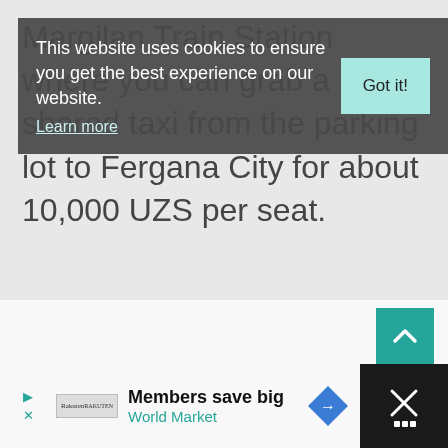Margilan Train Station where you can grab a shared taxi from the parking lot to Fergana City for about 10,000 UZS per seat.
[Figure (screenshot): Cookie consent banner overlay on a travel website. Dark semi-transparent banner with white text: 'This website uses cookies to ensure you get the best experience on our website.' with a 'Learn more' underlined link, and a teal 'Got it!' button on the right.]
[Figure (screenshot): Teal back-to-top arrow button at right side of page below main content area.]
[Figure (screenshot): Advertisement bar at bottom: 'Members save big / World Market' with a Road Market diamond logo icon. Close button on the right with X mark.]